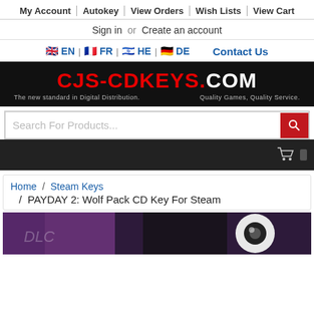My Account | Autokey | View Orders | Wish Lists | View Cart
Sign in or Create an account
EN | FR | HE | DE   Contact Us
[Figure (logo): CJS-CDKEYS.COM logo on dark background with tagline 'The new standard in Digital Distribution. Quality Games, Quality Service.']
Search For Products...
Home / Steam Keys / PAYDAY 2: Wolf Pack CD Key For Steam
[Figure (photo): Partial product image for PAYDAY 2: Wolf Pack showing purple and dark background with partial circular eye graphic]